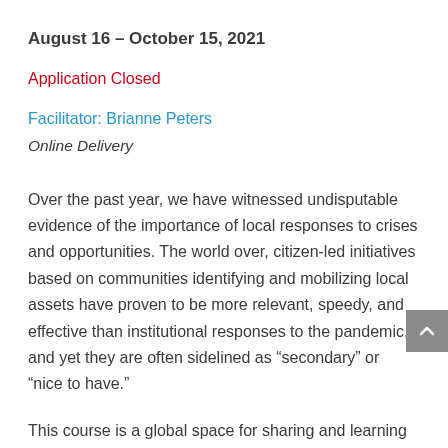August 16 – October 15, 2021
Application Closed
Facilitator: Brianne Peters
Online Delivery
Over the past year, we have witnessed undisputable evidence of the importance of local responses to crises and opportunities. The world over, citizen-led initiatives based on communities identifying and mobilizing local assets have proven to be more relevant, speedy, and effective than institutional responses to the pandemic, and yet they are often sidelined as “secondary” or “nice to have.”
This course is a global space for sharing and learning about the principles, practices, and tools that put local assets and action at the centre any